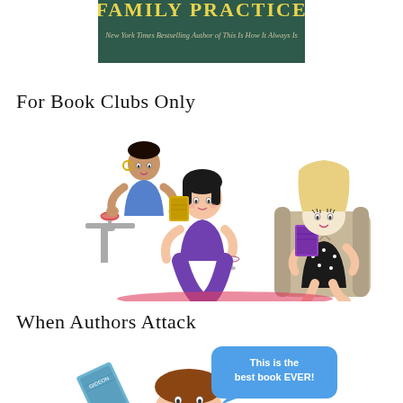[Figure (illustration): Partial book cover with green background, yellow title text (partially visible), and italic subtitle text: 'New York Times Bestselling Author of This Is How It Always Is']
For Book Clubs Only
[Figure (illustration): Cartoon illustration of three women at a book club gathering, holding books and wine glasses, with a side table and armchair]
When Authors Attack
[Figure (illustration): Partial illustration showing a book, a woman, and a blue speech bubble saying 'This is the best book EVER!']